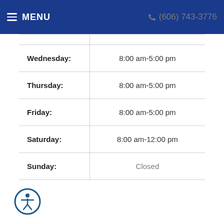MENU   (606) 743-3776
| Day | Hours |
| --- | --- |
| Wednesday: | 8:00 am-5:00 pm |
| Thursday: | 8:00 am-5:00 pm |
| Friday: | 8:00 am-5:00 pm |
| Saturday: | 8:00 am-12:00 pm |
| Sunday: | Closed |
[Figure (logo): Accessibility icon — person in circle with blue border]